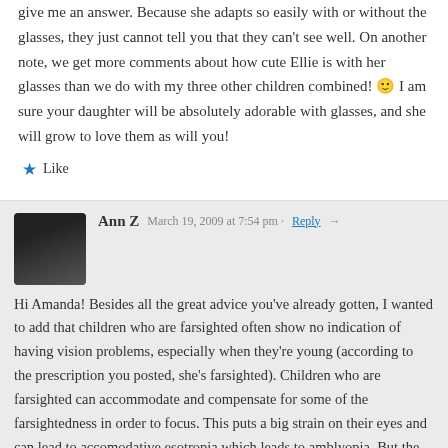give me an answer. Because she adapts so easily with or without the glasses, they just cannot tell you that they can't see well. On another note, we get more comments about how cute Ellie is with her glasses than we do with my three other children combined! 🙂 I am sure your daughter will be absolutely adorable with glasses, and she will grow to love them as will you!
★ Like
Ann Z  March 19, 2009 at 7:54 pm · Reply →
Hi Amanda! Besides all the great advice you've already gotten, I wanted to add that children who are farsighted often show no indication of having vision problems, especially when they're young (according to the prescription you posted, she's farsighted). Children who are farsighted can accommodate and compensate for some of the farsightedness in order to focus. This puts a big strain on their eyes and can lead to accomodative esotropia which leads to amblyopia. But the fact is, they won't show the typical signs of vision problems that we all watch out for, as those are signs of being